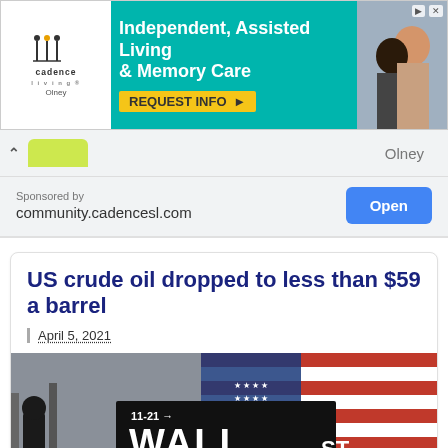[Figure (screenshot): Advertisement banner for Cadence Living Olney - Independent, Assisted Living & Memory Care with REQUEST INFO button on teal background]
[Figure (screenshot): Browser navigation bar with back caret, yellow-green tab, and 'Olney' location text]
Sponsored by community.cadencesl.com
US crude oil dropped to less than $59 a barrel
April 5, 2021
[Figure (photo): Wall Street sign in black with white lettering showing 11-21 and WALL ST, American flag in background]